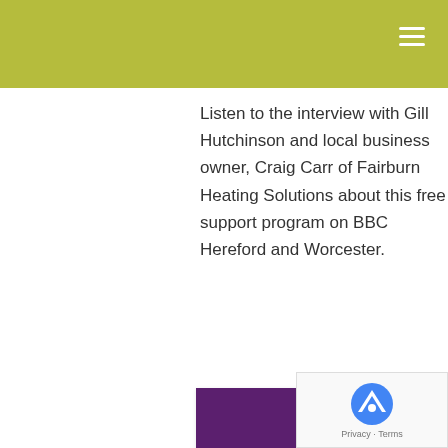Listen to the interview with Gill Hutchinson and local business owner, Craig Carr of Fairburn Heating Solutions about this free support program on BBC Hereford and Worcester.
[Figure (screenshot): Audio player widget showing a music file icon, filename truncated as 'BBC_H_and_W-2020-...', audio controls with play button and time display '00:00 ... 00:00', and track listing '1. "BBC_H_and_W-2020...  2:36']
[Figure (screenshot): Purple video thumbnail partially visible at bottom of page]
[Figure (other): reCAPTCHA Privacy - Terms badge in bottom right corner]